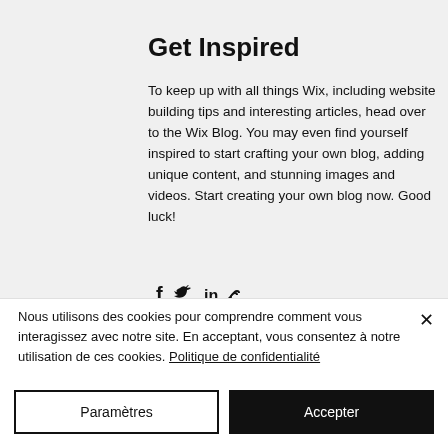Get Inspired
To keep up with all things Wix, including website building tips and interesting articles, head over to the Wix Blog. You may even find yourself inspired to start crafting your own blog, adding unique content, and stunning images and videos. Start creating your own blog now. Good luck!
[Figure (other): Social share icons: Facebook, Twitter, LinkedIn, Link/Copy]
Nous utilisons des cookies pour comprendre comment vous interagissez avec notre site. En acceptant, vous consentez à notre utilisation de ces cookies. Politique de confidentialité
Paramètres
Accepter